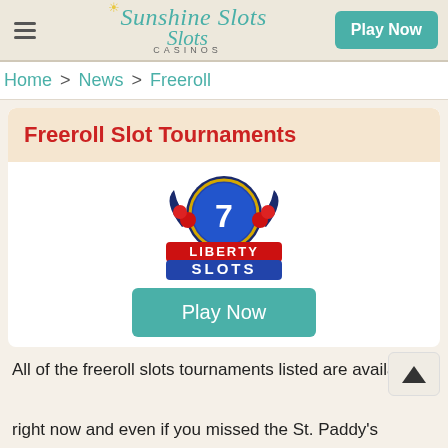Sunshine Slots Casinos | Play Now
Home > News > Freeroll
Freeroll Slot Tournaments
[Figure (logo): Liberty Slots Casino logo with a blue coin showing a 7, red cherries, and the text LIBERTY SLOTS]
Play Now
All of the freeroll slots tournaments listed are available right now and even if you missed the St. Paddy's Freeroll, you will have a chance next month to enter and vie for yet another top prize as Liberty Slots Casino and